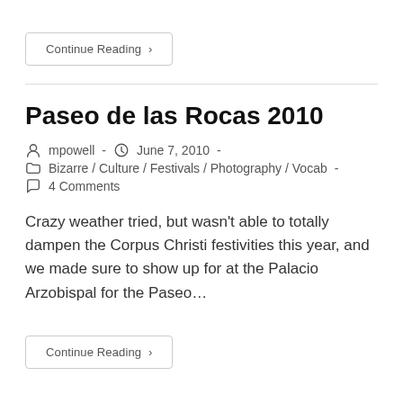Continue Reading ›
Paseo de las Rocas 2010
mpowell - June 7, 2010 - Bizarre / Culture / Festivals / Photography / Vocab - 4 Comments
Crazy weather tried, but wasn't able to totally dampen the Corpus Christi festivities this year, and we made sure to show up for at the Palacio Arzobispal for the Paseo...
Continue Reading ›